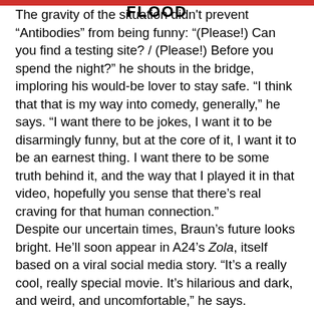FLOOD
The gravity of the situation didn't prevent “Antibodies” from being funny: “(Please!) Can you find a testing site? / (Please!) Before you spend the night?” he shouts in the bridge, imploring his would-be lover to stay safe. “I think that that is my way into comedy, generally,” he says. “I want there to be jokes, I want it to be disarmingly funny, but at the core of it, I want it to be an earnest thing. I want there to be some truth behind it, and the way that I played it in that video, hopefully you sense that there’s real craving for that human connection.”
Despite our uncertain times, Braun’s future looks bright. He’ll soon appear in A24’s Zola, itself based on a viral social media story. “It’s a really cool, really special movie. It’s hilarious and dark, and weird, and uncomfortable,” he says.